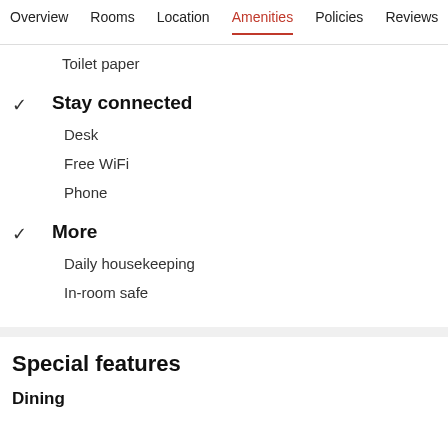Overview  Rooms  Location  Amenities  Policies  Reviews
Toilet paper
Stay connected
Desk
Free WiFi
Phone
More
Daily housekeeping
In-room safe
Special features
Dining